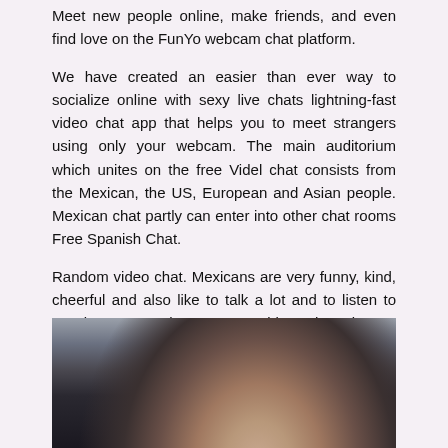Meet new people online, make friends, and even find love on the FunYo webcam chat platform.
We have created an easier than ever way to socialize online with sexy live chats lightning-fast video chat app that helps you to meet strangers using only your webcam. The main auditorium which unites on the free Videl chat consists from the Mexican, the US, European and Asian people. Mexican chat partly can enter into other chat rooms Free Spanish Chat.
Random video chat. Mexicans are very funny, kind, cheerful and also like to talk a lot and to listen to gossips. Free chat rooms, video chat, instant messaging and more.
[Figure (photo): Partial photo of a person, showing top of head with dark hair against a grey/blue background, cropped at bottom of page]